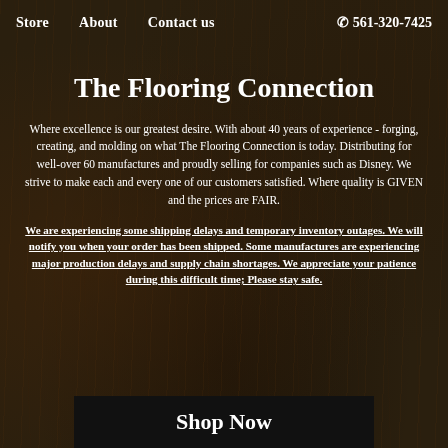Store   About   Contact us   ☎ 561-320-7425
The Flooring Connection
Where excellence is our greatest desire. With about 40 years of experience - forging, creating, and molding on what The Flooring Connection is today. Distributing for well-over 60 manufactures and proudly selling for companies such as Disney. We strive to make each and every one of our customers satisfied. Where quality is GIVEN and the prices are FAIR.
We are experiencing some shipping delays and temporary inventory outages. We will notify you when your order has been shipped. Some manufactures are experiencing major production delays and supply chain shortages. We appreciate your patience during this difficult time; Please stay safe.
Shop Now